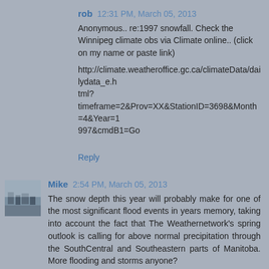rob  12:31 PM, March 05, 2013
Anonymous.. re:1997 snowfall. Check the Winnipeg climate obs via Climate online.. (click on my name or paste link)
http://climate.weatheroffice.gc.ca/climateData/dailydata_e.html?timeframe=2&Prov=XX&StationID=3698&Month=4&Year=1997&cmdB1=Go
Reply
Mike  2:54 PM, March 05, 2013
The snow depth this year will probably make for one of the most significant flood events in years memory, taking into account the fact that The Weathernetwork's spring outlook is calling for above normal precipitation through the SouthCentral and Southeastern parts of Manitoba. More flooding and storms anyone?
Reply